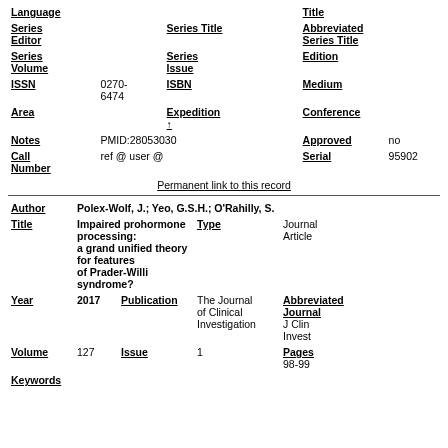| Language |  | Title |
| Series Editor |  | Series Title |  | Abbreviated Series Title |
| Series Volume |  | Series Issue |  | Edition |
| ISSN | 0270-6474 | ISBN |  | Medium |
| Area |  | Expedition ↑ |  | Conference |
| Notes | PMID:28053030 | Approved | no |
| Call Number | ref @ user @ | Serial | 95902 |
Permanent link to this record
| Author | Polex-Wolf, J.; Yeo, G.S.H.; O'Rahilly, S. |
| Title | Impaired prohormone processing: a grand unified theory for features of Prader-Willi syndrome? | Type | Journal Article |
| Year | 2017 | Publication | The Journal of Clinical Investigation | Abbreviated Journal | J Clin Invest |
| Volume | 127 | Issue | 1 | Pages | 98-99 |
| Keywords |  |